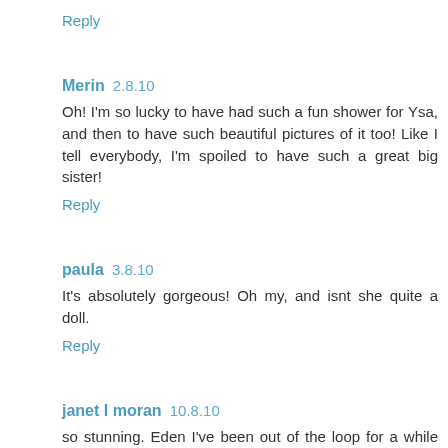Reply
Merin 2.8.10
Oh! I'm so lucky to have had such a fun shower for Ysa, and then to have such beautiful pictures of it too! Like I tell everybody, I'm spoiled to have such a great big sister!
Reply
paula 3.8.10
It's absolutely gorgeous! Oh my, and isnt she quite a doll.
Reply
janet l moran 10.8.10
so stunning. Eden I've been out of the loop for a while and was thrilled to visit your blog and see all the amazing work you've done to your house and all the beautiful images you've created.